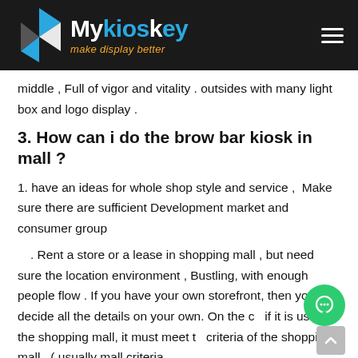Mykioskey - make display better
middle , Full of vigor and vitality . outsides with many light box and logo display .
3. How can i do the brow bar kiosk in mall ?
1. have an ideas for whole shop style and service ,  Make sure there are sufficient Development market and consumer groupã
ã. Rent a store or a lease in shopping mall , but need sure the location environment , Bustling, with enough people flow . If you have your own storefront, then you can decide all the details on your own. On the c... if it is used in the shopping mall, it must meet th... criteria of the shopping mall , ( usually mall criteria